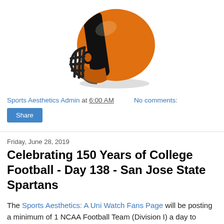[Figure (illustration): Orange and black college football helmet facing left, with black face mask, on white background]
Sports Aesthetics Admin at 6:00 AM    No comments:
Share
Friday, June 28, 2019
Celebrating 150 Years of College Football - Day 138 - San Jose State Spartans
The Sports Aesthetics: A Uni Watch Fans Page will be posting a minimum of 1 NCAA Football Team (Division I) a day to celebrate the 150 years of College Football. The teams will begin with the oldest